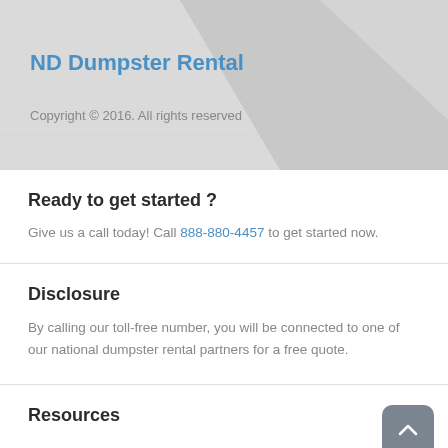ND Dumpster Rental
Copyright © 2016. All rights reserved
Ready to get started ?
Give us a call today! Call 888-880-4457 to get started now.
Disclosure
By calling our toll-free number, you will be connected to one of our national dumpster rental partners for a free quote.
Resources